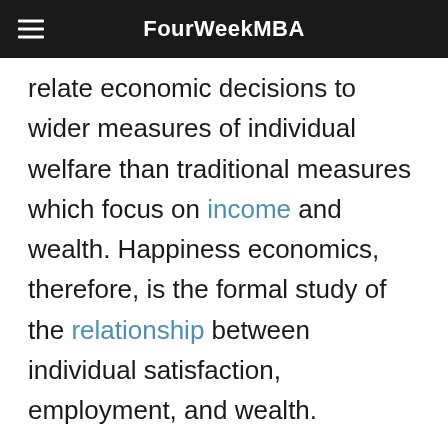FourWeekMBA
relate economic decisions to wider measures of individual welfare than traditional measures which focus on income and wealth. Happiness economics, therefore, is the formal study of the relationship between individual satisfaction, employment, and wealth.